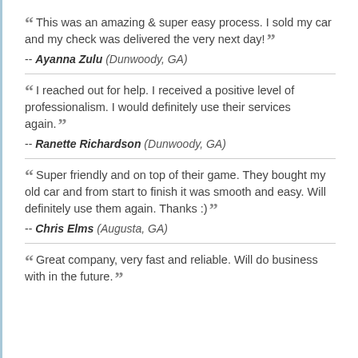“ This was an amazing & super easy process. I sold my car and my check was delivered the very next day! ”
-- Ayanna Zulu (Dunwoody, GA)
“ I reached out for help. I received a positive level of professionalism. I would definitely use their services again. ”
-- Ranette Richardson (Dunwoody, GA)
“ Super friendly and on top of their game. They bought my old car and from start to finish it was smooth and easy. Will definitely use them again. Thanks :) ”
-- Chris Elms (Augusta, GA)
“ Great company, very fast and reliable. Will do business with in the future. ”